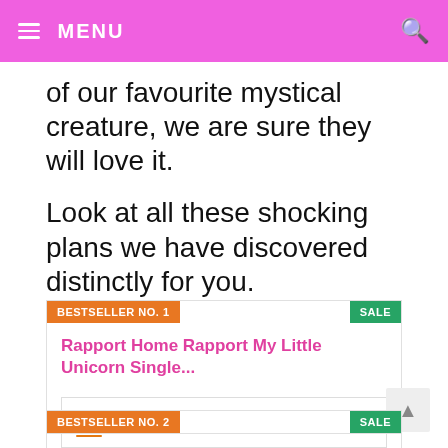MENU
of our favourite mystical creature, we are sure they will love it.
Look at all these shocking plans we have discovered distinctly for you.
[Figure (other): Product card: BESTSELLER NO. 1 badge (orange), SALE badge (green), title 'Rapport Home Rapport My Little Unicorn Single...', Amazon logo with 'See offers' button]
[Figure (other): Product card: BESTSELLER NO. 2 badge (orange), SALE badge (green), partially visible title starting with 'R']